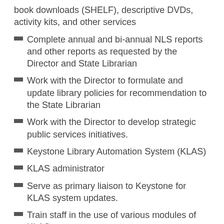book downloads (SHELF), descriptive DVDs, activity kits, and other services
Complete annual and bi-annual NLS reports and other reports as requested by the Director and State Librarian
Work with the Director to formulate and update library policies for recommendation to the State Librarian
Work with the Director to develop strategic public services initiatives.
Keystone Library Automation System (KLAS)
KLAS administrator
Serve as primary liaison to Keystone for KLAS system updates.
Train staff in the use of various modules of KLAS
Public Education/Outreach
Work with the Director, Special Services Librarian and other staff as appropriate to develop and